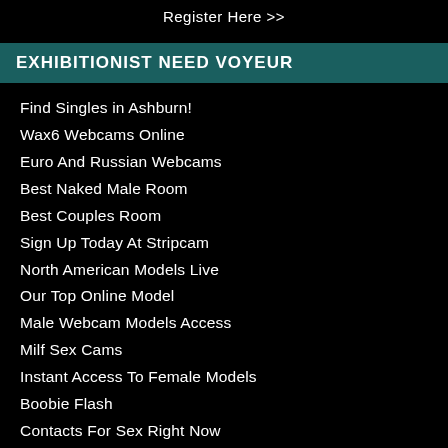Register Here >>
EXHIBITIONIST NEED VOYEUR
Find Singles in Ashburn!
Wax6 Webcams Online
Euro And Russian Webcams
Best Naked Male Room
Best Couples Room
Sign Up Today At Stripcam
North American Models Live
Our Top Online Model
Male Webcam Models Access
Milf Sex Cams
Instant Access To Female Models
Boobie Flash
Contacts For Sex Right Now
Naked Foot Worship
Movie Ripper